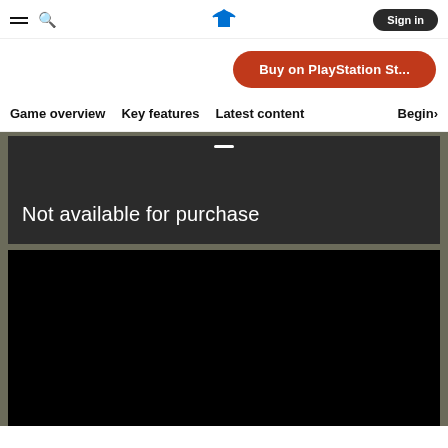— 🔍  [PlayStation logo]  Sign in
Buy on PlayStation St...
Game overview   Key features   Latest content   Begin>
Not available for purchase
[Figure (screenshot): Black video player panel area]